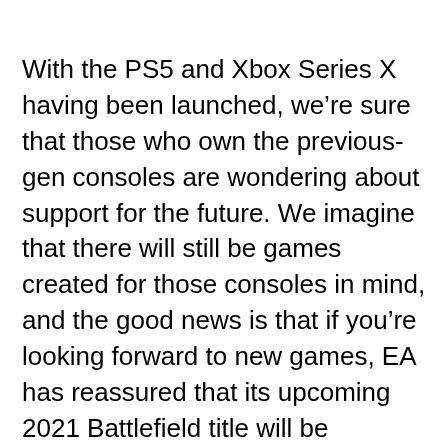With the PS5 and Xbox Series X having been launched, we're sure that those who own the previous-gen consoles are wondering about support for the future. We imagine that there will still be games created for those consoles in mind, and the good news is that if you're looking forward to new games, EA has reassured that its upcoming 2021 Battlefield title will be playable on last-gen consoles.